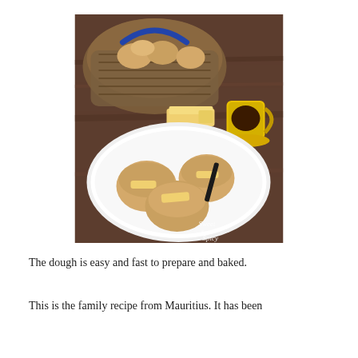[Figure (photo): Photo of scones with butter on a white plate, a basket of bread in the background, a yellow coffee cup, and a block of butter on a dark wood table. Watermark reads 'Sweet & Spicy' in the bottom right corner.]
The dough is easy and fast to prepare and baked.
This is the family recipe from Mauritius. It has been